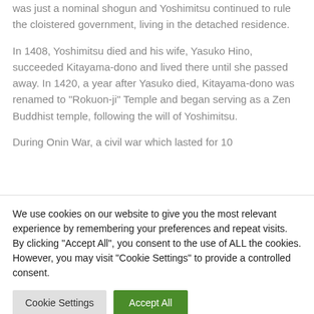was just a nominal shogun and Yoshimitsu continued to rule the cloistered government, living in the detached residence.
In 1408, Yoshimitsu died and his wife, Yasuko Hino, succeeded Kitayama-dono and lived there until she passed away. In 1420, a year after Yasuko died, Kitayama-dono was renamed to "Rokuon-ji" Temple and began serving as a Zen Buddhist temple, following the will of Yoshimitsu.
During Onin War, a civil war which lasted for 10
We use cookies on our website to give you the most relevant experience by remembering your preferences and repeat visits. By clicking “Accept All”, you consent to the use of ALL the cookies. However, you may visit “Cookie Settings” to provide a controlled consent.